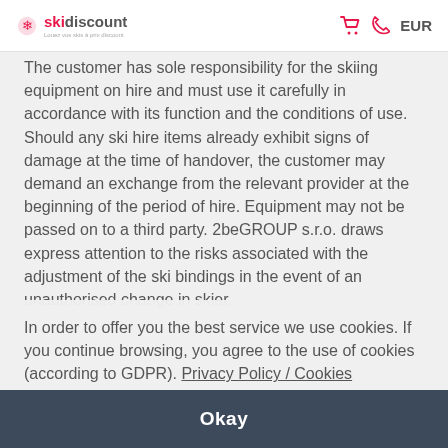skidiscount | EUR
The customer has sole responsibility for the skiing equipment on hire and must use it carefully in accordance with its function and the conditions of use. Should any ski hire items already exhibit signs of damage at the time of handover, the customer may demand an exchange from the relevant provider at the beginning of the period of hire. Equipment may not be passed on to a third party. 2beGROUP s.r.o. draws express attention to the risks associated with the adjustment of the ski bindings in the event of an unauthorised change in skier.
In order to offer you the best service we use cookies. If you continue browsing, you agree to the use of cookies (according to GDPR). Privacy Policy / Cookies
Okay